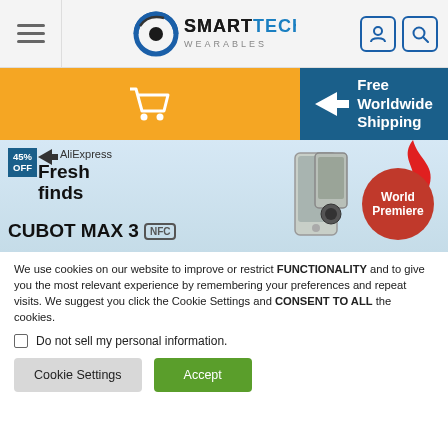[Figure (logo): SmartTech Wearables logo with circular icon and hamburger menu, plus user and search icons]
[Figure (screenshot): Orange cart button and blue Free Worldwide Shipping banner with airplane icon]
[Figure (screenshot): AliExpress Fresh Finds banner: 45% OFF badge, CUBOT MAX 3 NFC product, World Premiere badge, red flame, product phones]
We use cookies on our website to improve or restrict FUNCTIONALITY and to give you the most relevant experience by remembering your preferences and repeat visits. We suggest you click the Cookie Settings and CONSENT TO ALL the cookies.
Do not sell my personal information.
Cookie Settings
Accept